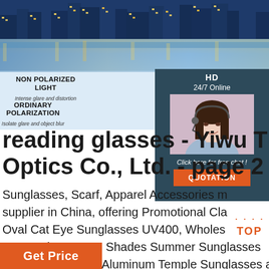[Figure (photo): Night cityscape banner photo showing city lights reflecting on water]
NON POLARIZED LIGHT
Intense glare and distortion
ORDINARY POLARIZATION
Isolate glare and object blur
HD
24/7 Online
[Figure (photo): Customer service representative woman with headset smiling]
Click here for free chat!
QUOTATION
reading glasses - Yiwu Optics Co., Ltd. - page 2
Sunglasses, Scarf, Apparel Accessories manufacturer / supplier in China, offering Promotional Classic Oval Cat Eye Sunglasses UV400, Wholesale Rectangle Cat Eye Shades Summer Sunglasses Women, Tr Frame Aluminum Temple Sunglasses and so on.
Get Price